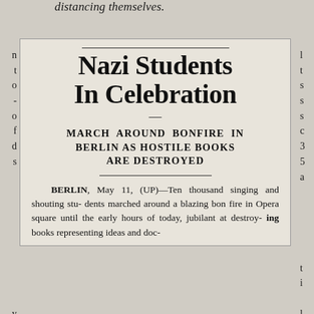distancing themselves.
Nazi Students In Celebration
MARCH AROUND BONFIRE IN BERLIN AS HOSTILE BOOKS ARE DESTROYED
BERLIN, May 11, (UP)—Ten thousand singing and shouting students marched around a blazing bonfire in Opera square until the early hours of today, jubilant at destroying books representing ideas and doc-